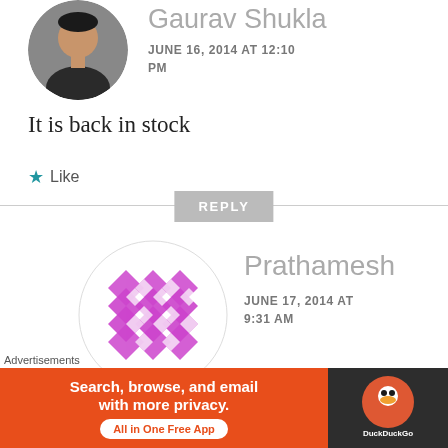[Figure (photo): Circular avatar photo of Gaurav Shukla, a man in a dark shirt]
Gaurav Shukla
JUNE 16, 2014 AT 12:10 PM
It is back in stock
★ Like
REPLY
[Figure (logo): Prathamesh avatar - decorative purple/magenta diamond pattern logo]
Prathamesh
JUNE 17, 2014 AT 9:31 AM
Advertisements
[Figure (screenshot): DuckDuckGo advertisement banner: Search, browse, and email with more privacy. All in One Free App. Orange background with DuckDuckGo logo on dark right panel.]